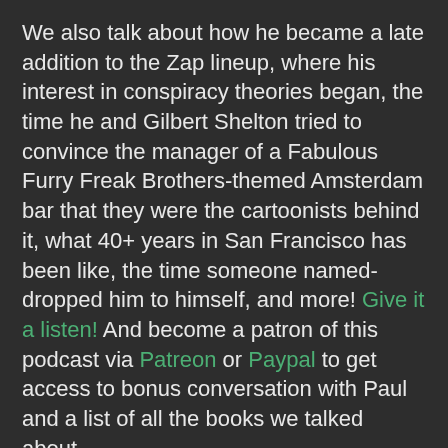We also talk about how he became a late addition to the Zap lineup, where his interest in conspiracy theories began, the time he and Gilbert Shelton tried to convince the manager of a Fabulous Furry Freak Brothers-themed Amsterdam bar that they were the cartoonists behind it, what 40+ years in San Francisco has been like, the time someone named-dropped him to himself, and more! Give it a listen! And become a patron of this podcast via Patreon or Paypal to get access to bonus conversation with Paul and a list of all the books we talked about.
Enjoy the conversation! Then check out the archives for more great episodes!
Follow The Virtual Memories Show on iTunes, Twitter...